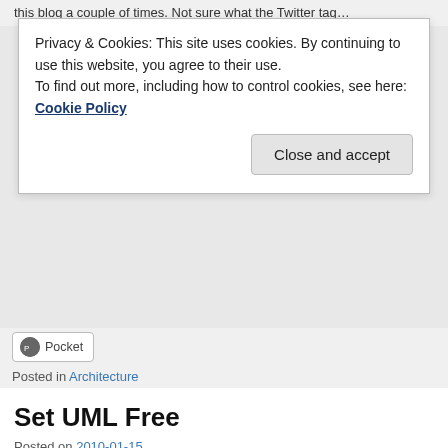this blog a couple of times. Not sure what the Twitter tag…
Privacy & Cookies: This site uses cookies. By continuing to use this website, you agree to their use.
To find out more, including how to control cookies, see here: Cookie Policy
Close and accept
Pocket
Posted in Architecture
Set UML Free
Posted on 2010-01-15
Yesterday I received an invitation to support an effort to set UML free. You can read all about it on webuml.org. Currently the site is a wall of text (tip for the authors: less is more … and there is nothing wrong with a picture or two ;)) but if you have some spare time I encourage you to read through it.